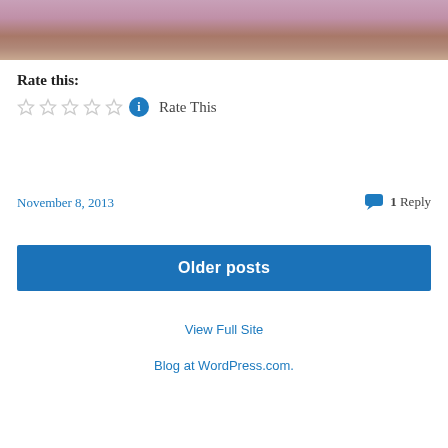[Figure (photo): Partial photo of a person in a purple/maroon shirt, cropped at the top of the page]
Rate this:
★☆☆☆☆ ℹ Rate This
November 8, 2013   1 Reply
Older posts
View Full Site
Blog at WordPress.com.